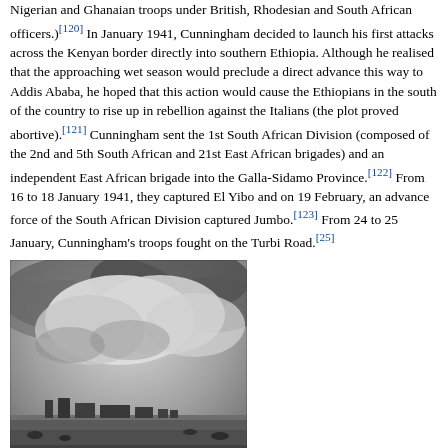Nigerian and Ghanaian troops under British, Rhodesian and South African officers.)[120] In January 1941, Cunningham decided to launch his first attacks across the Kenyan border directly into southern Ethiopia. Although he realised that the approaching wet season would preclude a direct advance this way to Addis Ababa, he hoped that this action would cause the Ethiopians in the south of the country to rise up in rebellion against the Italians (the plot proved abortive).[121] Cunningham sent the 1st South African Division (composed of the 2nd and 5th South African and 21st East African brigades) and an independent East African brigade into the Galla-Sidamo Province.[122] From 16 to 18 January 1941, they captured El Yibo and on 19 February, an advance force of the South African Division captured Jumbo.[123] From 24 to 25 January, Cunningham's troops fought on the Turbi Road.[25]
[Figure (photo): Black and white photograph of Mega Fort landscape with buildings on flat terrain under dramatic cloudy sky, before the 1st South African Infantry Division attack]
Mega Fort before the 1st South African Infantry Division attack